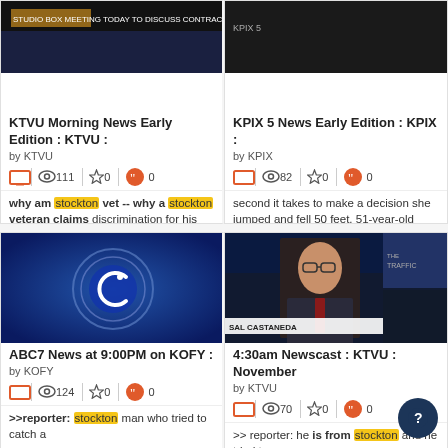[Figure (screenshot): TV news thumbnail - KTVU news desk]
KTVU Morning News Early Edition : KTVU :
by KTVU
111 views, 0 favorites, 0 quotes
why am stockton vet -- why a stockton veteran claims discrimination for his work. at farmers, we
[Figure (screenshot): TV news thumbnail - KPIX news desk]
KPIX 5 News Early Edition : KPIX :
by KPIX
82 views, 0 favorites, 0 quotes
second it takes to make a decision she jumped and fell 50 feet. 51-year-old vietnam vet donny
[Figure (screenshot): ABC7 news logo - blue circle with camera icon]
ABC7 News at 9:00PM on KOFY :
by KOFY
124 views, 0 favorites, 0 quotes
>>reporter: stockton man who tried to catch a
[Figure (screenshot): 4:30am Newscast thumbnail - Sal Castaneda anchor]
4:30am Newscast : KTVU : November
by KTVU
70 views, 0 favorites, 0 quotes
>> reporter: he is from stockton and he tried to